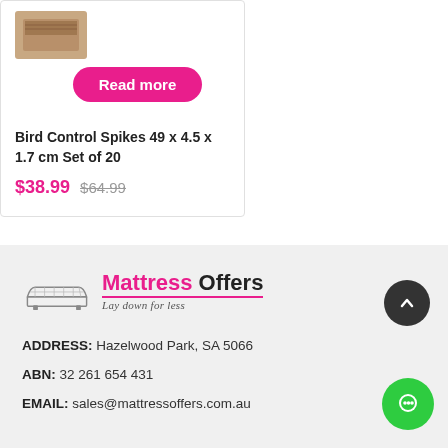[Figure (photo): Product thumbnail image of bird control spikes, partially visible at top]
Read more
Bird Control Spikes 49 x 4.5 x 1.7 cm Set of 20
$38.99  $64.99
[Figure (logo): Mattress Offers logo with mattress illustration and tagline 'Lay down for less']
ADDRESS: Hazelwood Park, SA 5066
ABN: 32 261 654 431
EMAIL: sales@mattressoffers.com.au